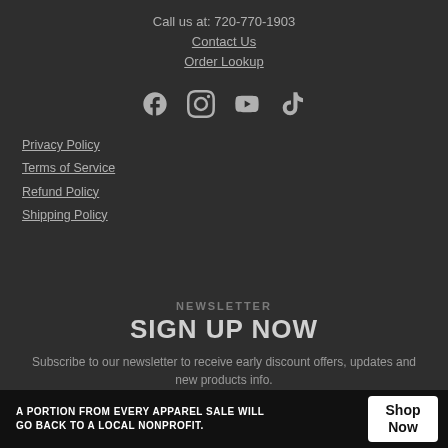Call us at: 720-770-1903
Contact Us
Order Lookup
[Figure (infographic): Social media icons: Facebook, Instagram, YouTube, TikTok]
Privacy Policy
Terms of Service
Refund Policy
Shipping Policy
NEWSLETTER
SIGN UP NOW
Subscribe to our newsletter to receive early discount offers, updates and new products info.
Your email / GO >
A PORTION FROM EVERY APPAREL SALE WILL GO BACK TO A LOCAL NONPROFIT.
Shop Now